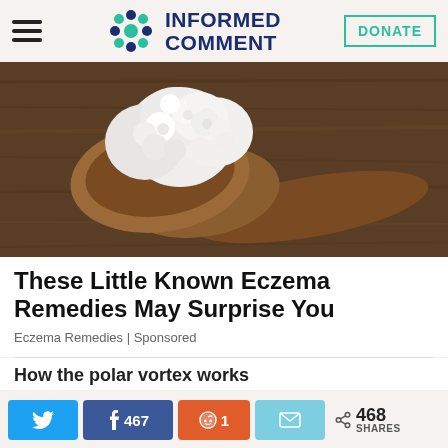INFORMED COMMENT [logo] DONATE
[Figure (photo): Kefir grains piled on a wooden spoon against a rustic wood background]
These Little Known Eczema Remedies May Surprise You
Eczema Remedies | Sponsored
How the polar vortex works
Twitter share button | Facebook 467 | Reddit 1 | Email | < 468 SHARES